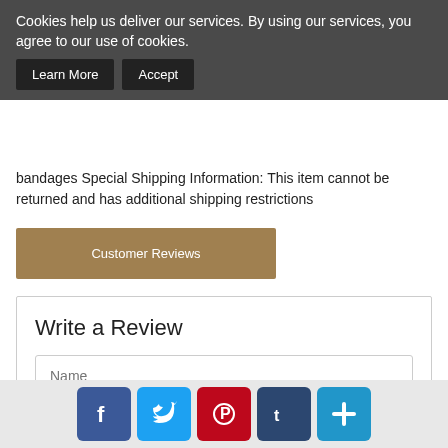Cookies help us deliver our services. By using our services, you agree to our use of cookies.
Learn More   Accept
bandages Special Shipping Information: This item cannot be returned and has additional shipping restrictions
Customer Reviews
Write a Review
Name
Email Address
-- Select Rating --
Your review
[Figure (infographic): Social media share buttons: Facebook (blue), Twitter (light blue), Pinterest (red), Tumblr (dark blue), Plus/Share (cyan blue)]